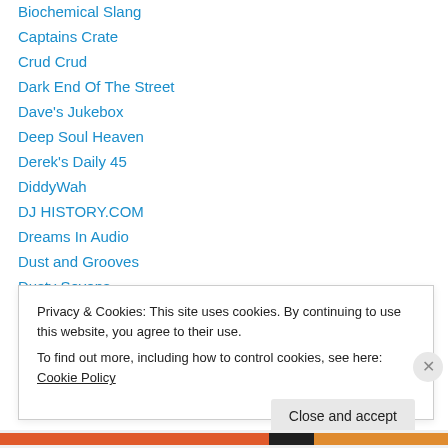Biochemical Slang
Captains Crate
Crud Crud
Dark End Of The Street
Dave's Jukebox
Deep Soul Heaven
Derek's Daily 45
DiddyWah
DJ HISTORY.COM
Dreams In Audio
Dust and Grooves
Dusty Sevens
Echoes In the Wind
Privacy & Cookies: This site uses cookies. By continuing to use this website, you agree to their use.
To find out more, including how to control cookies, see here: Cookie Policy